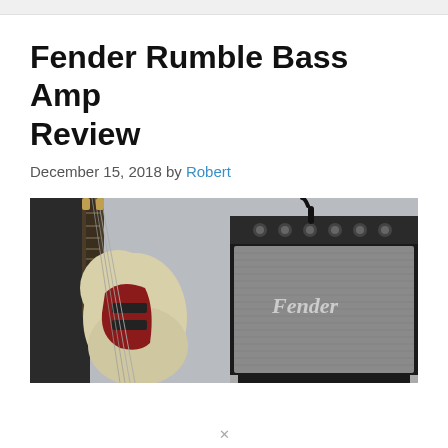Fender Rumble Bass Amp Review
December 15, 2018 by Robert
[Figure (photo): A cream/white Fender Precision bass guitar leaning against a wall on the left, and a Fender Rumble bass amplifier (black with grey speaker grille and Fender logo) on the right, with a cable plugged in on top.]